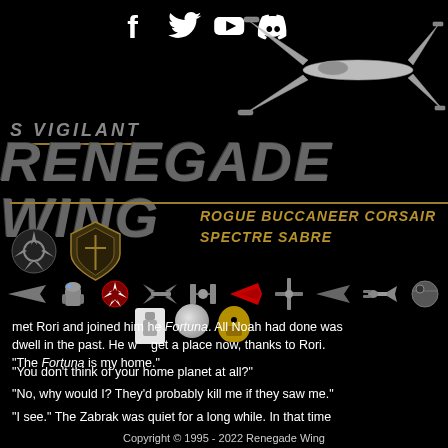[Figure (illustration): Social media icons: Facebook, Twitter, YouTube, Discord]
[Figure (illustration): X-Wing starfighter illustration, white/gray, top right corner]
S VIGILANT  RENEGADE WING
ROGUE BUCCANEER CORSAIR  SPECTRE SABRE
[Figure (illustration): Row of Star Wars themed icons: ship, R2-D2, Rebel Alliance symbol, X-Wing, TIE fighter, red ship, B-Wing, arrow ship, Y-Wing, Death Star]
[Figure (illustration): Rebel Alliance symbol and Renegade Wing shield logo]
met Rori and joined him he Fortuna. All Noah had done was dwell in the past. He w get a place now, thanks to Rori. "The Fortuna is my home."
"You don't think of your home planet at all?"
"No, why would I? They'd probably kill me if they saw me."
"I see." The Zabrak was quiet for a long while. In that time
Copyright © 1995 - 2022 Renegade Wing